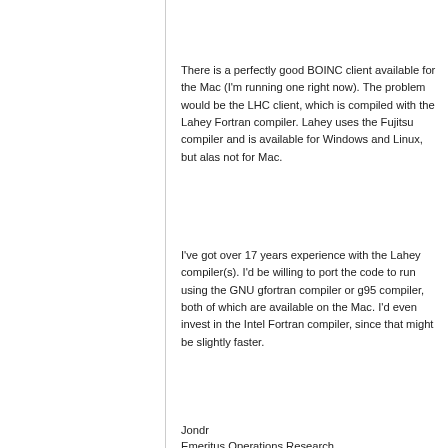There is a perfectly good BOINC client available for the Mac (I'm running one right now). The problem would be the LHC client, which is compiled with the Lahey Fortran compiler. Lahey uses the Fujitsu compiler and is available for Windows and Linux, but alas not for Mac.
I've got over 17 years experience with the Lahey compiler(s). I'd be willing to port the code to run using the GNU gfortran compiler or g95 compiler, both of which are available on the Mac. I'd even invest in the Intel Fortran compiler, since that might be slightly faster.
Jondr
Emeritus Operations Research